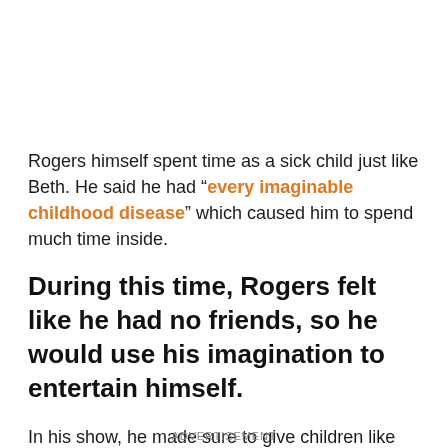Rogers himself spent time as a sick child just like Beth. He said he had “every imaginable childhood disease” which caused him to spend much time inside.
During this time, Rogers felt like he had no friends, so he would use his imagination to entertain himself.
In his show, he made sure to give children like him
ADVERTISEMENT